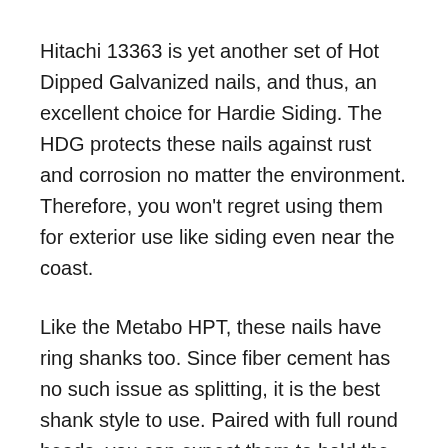Hitachi 13363 is yet another set of Hot Dipped Galvanized nails, and thus, an excellent choice for Hardie Siding. The HDG protects these nails against rust and corrosion no matter the environment. Therefore, you won't regret using them for exterior use like siding even near the coast.
Like the Metabo HPT, these nails have ring shanks too. Since fiber cement has no such issue as splitting, it is the best shank style to use. Paired with full round heads, you can expect them to hold the siding boards through the lifetime of your